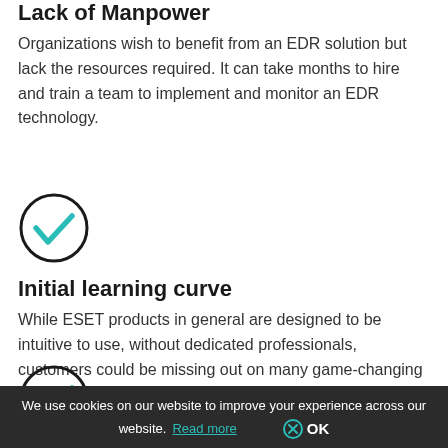Lack of Manpower
Organizations wish to benefit from an EDR solution but lack the resources required. It can take months to hire and train a team to implement and monitor an EDR technology.
[Figure (illustration): Teal checkmark inside a circle icon]
Initial learning curve
While ESET products in general are designed to be intuitive to use, without dedicated professionals, customers could be missing out on many game-changing advanced features.
[Figure (illustration): Teal checkmark inside a circle icon, partially visible at bottom]
We use cookies on our website to improve your experience across our website. Read more  ⊗ OK